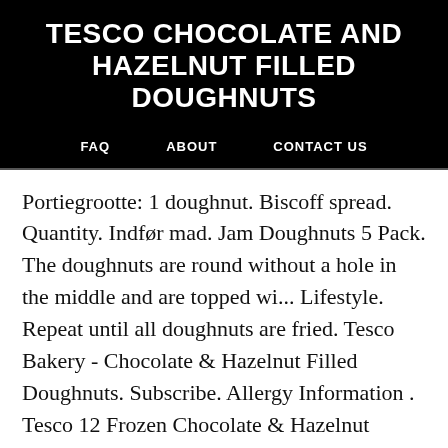TESCO CHOCOLATE AND HAZELNUT FILLED DOUGHNUTS
FAQ   ABOUT   CONTACT US
Portiegrootte: 1 doughnut. Biscoff spread. Quantity. Indфр mad. Jam Doughnuts 5 Pack. The doughnuts are round without a hole in the middle and are topped wi... Lifestyle. Repeat until all doughnuts are fried. Tesco Bakery - Chocolate & Hazelnut Filled Doughnuts. Subscribe. Allergy Information . Tesco 12 Frozen Chocolate & Hazelnut Filled Mini Churros 220g. After all the doughnuts have been fried, roll them in the cup of cane sugar. Cooked from frozen in 12 mins, enjoy with the sugar lightly sprinkled over the top. By...